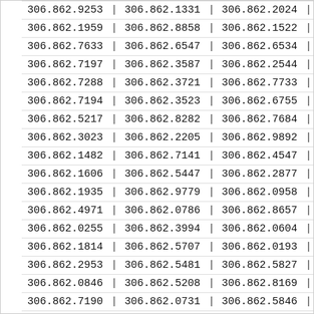| col1 | col2 | col3 |
| --- | --- | --- |
| 306.862.9253 | 306.862.1331 | 306.862.2024 |
| 306.862.1959 | 306.862.8858 | 306.862.1522 |
| 306.862.7633 | 306.862.6547 | 306.862.6534 |
| 306.862.7197 | 306.862.3587 | 306.862.2544 |
| 306.862.7288 | 306.862.3721 | 306.862.7733 |
| 306.862.7194 | 306.862.3523 | 306.862.6755 |
| 306.862.5217 | 306.862.8282 | 306.862.7684 |
| 306.862.3023 | 306.862.2205 | 306.862.9892 |
| 306.862.1482 | 306.862.7141 | 306.862.4547 |
| 306.862.1606 | 306.862.5447 | 306.862.2877 |
| 306.862.1935 | 306.862.9779 | 306.862.0958 |
| 306.862.4971 | 306.862.0786 | 306.862.8657 |
| 306.862.0255 | 306.862.3994 | 306.862.0604 |
| 306.862.1814 | 306.862.5707 | 306.862.0193 |
| 306.862.2953 | 306.862.5481 | 306.862.5827 |
| 306.862.0846 | 306.862.5208 | 306.862.8169 |
| 306.862.7190 | 306.862.0731 | 306.862.5846 |
| 306.862.0550 | 306.862.7896 | 306.862.0937 |
| 306.862.0060 | 306.862.0007 | 306.862.0007 |